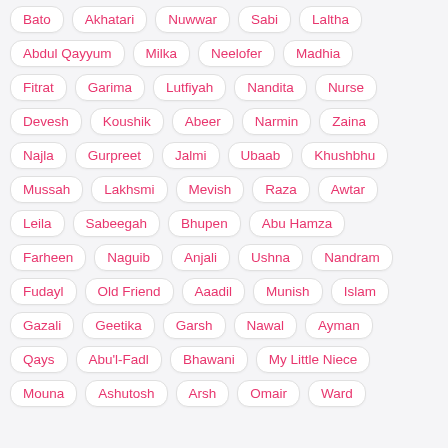Bato
Akhatari
Nuwwar
Sabi
Laltha
Abdul Qayyum
Milka
Neelofer
Madhia
Fitrat
Garima
Lutfiyah
Nandita
Nurse
Devesh
Koushik
Abeer
Narmin
Zaina
Najla
Gurpreet
Jalmi
Ubaab
Khushbhu
Mussah
Lakhsmi
Mevish
Raza
Awtar
Leila
Sabeegah
Bhupen
Abu Hamza
Farheen
Naguib
Anjali
Ushna
Nandram
Fudayl
Old Friend
Aaadil
Munish
Islam
Gazali
Geetika
Garsh
Nawal
Ayman
Qays
Abu'l-Fadl
Bhawani
My Little Niece
Mouna
Ashutosh
Arsh
Omair
Ward